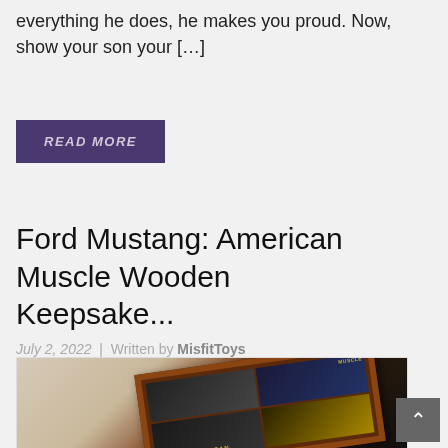everything he does, he makes you proud. Now, show your son your […]
READ MORE
Ford Mustang: American Muscle Wooden Keepsake...
July 2, 2022 | Written by MisfitToys
[Figure (photo): A wooden framed keepsake plaque featuring Ford Mustang cars in a 2x2 grid collage, with 'American Muscle' labeling, shown at an angle on white background.]